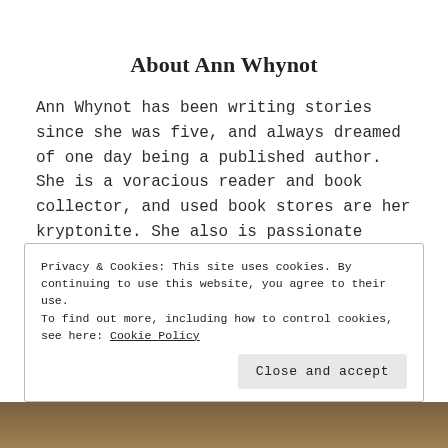About Ann Whynot
Ann Whynot has been writing stories since she was five, and always dreamed of one day being a published author. She is a voracious reader and book collector, and used book stores are her kryptonite. She also is passionate about video games, crafting, baking, laughing, and travel.
Privacy & Cookies: This site uses cookies. By continuing to use this website, you agree to their use.
To find out more, including how to control cookies, see here: Cookie Policy
Close and accept
[Figure (photo): Partial photo visible at bottom of page, appears to show a person]